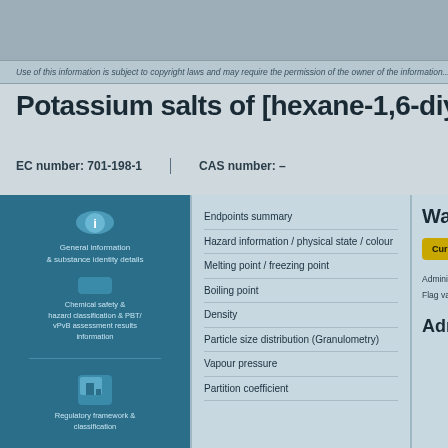Use of this information is subject to copyright laws and may require the permission of the owner of the information...
Potassium salts of [hexane-1,6-diylbis[nitriloб
EC number: 701-198-1  |  CAS number: –
[Figure (infographic): Blue panel with info icon, general information and substance identity, chemical safety and hazard classification, PBT/vPvB assessment, regulatory framework and classification icons and text]
Endpoints summary
Hazard information / physical state / colour
Melting point / freezing point
Boiling point
Density
Particle size distribution (Granulometry)
Vapour pressure
Partition coefficient
Water solu
Currently avail
Administrator d
Flag value for revi
Administrati